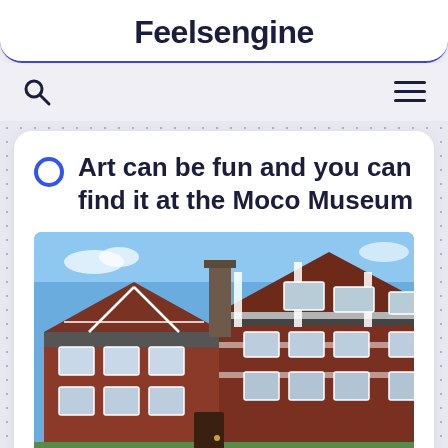Feelsengine
Art can be fun and you can find it at the Moco Museum
[Figure (photo): Exterior photograph of the Moco Museum building — a red brick and white timber-framed Victorian/Tudor-style building with gabled roofline and chimney, photographed from a low angle against a blue sky.]